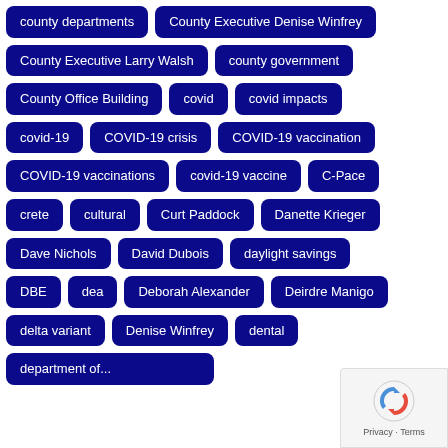county departments
County Executive Denise Winfrey
County Executive Larry Walsh
county government
County Office Building
covid
covid impacts
covid-19
COVID-19 crisis
COVID-19 vaccination
COVID-19 vaccinations
covid-19 vaccine
C-Pace
crete
cultural
Curt Paddock
Danette Krieger
Dave Nichols
David Dubois
daylight savings
DBE
dea
Deborah Alexander
Deirdre Manigo
delta variant
Denise Winfrey
dental
department of...